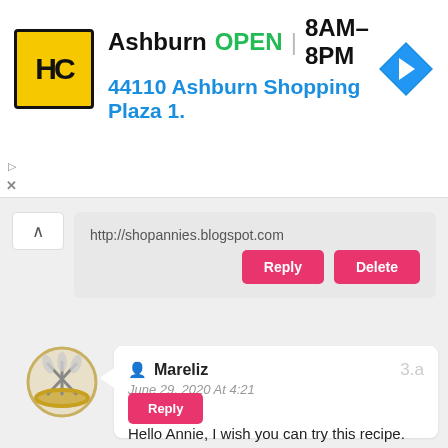[Figure (infographic): Advertisement banner for Hairclub (HC) Ashburn location. Yellow/black HC logo, text: Ashburn OPEN 8AM-8PM, 44110 Ashburn Shopping Plaza 1., blue navigation arrow icon.]
http://shopannies.blogspot.com
[Figure (illustration): Reply and Delete pink buttons at the end of a comment block]
[Figure (illustration): Circular avatar/badge with crossed darts on gold background for user Mareliz]
Mareliz
3.a
June 29, 2020 At 4:21 PM
Hello Annie, I wish you can try this recipe. Have a great week ahead.